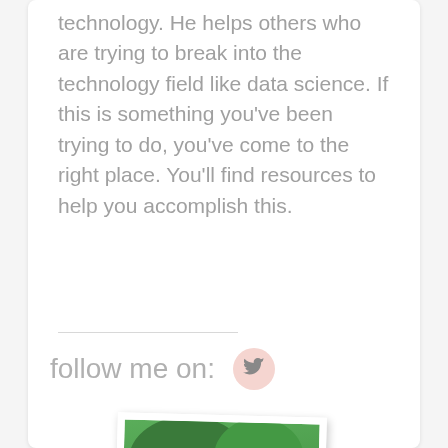technology. He helps others who are trying to break into the technology field like data science. If this is something you've been trying to do, you've come to the right place. You'll find resources to help you accomplish this.
follow me on:
[Figure (photo): A photograph of a middle-aged bald man smiling, wearing a black polo shirt, with green trees in the background. The photo is presented with a white border like a printed photograph, slightly rotated.]